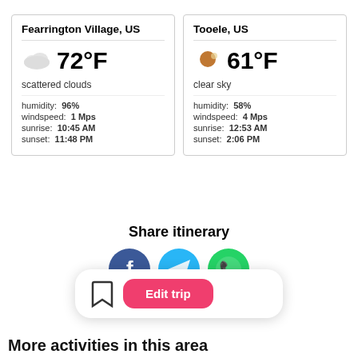Fearrington Village, US | 72°F | scattered clouds | humidity: 96% | windspeed: 1 Mps | sunrise: 10:45 AM | sunset: 11:48 PM
Tooele, US | 61°F | clear sky | humidity: 58% | windspeed: 4 Mps | sunrise: 12:53 AM | sunset: 2:06 PM
Share itinerary
[Figure (illustration): Three circular social share buttons: Facebook (dark blue), Telegram (light blue), WhatsApp (green)]
[Figure (infographic): Bottom action bar with bookmark icon and pink 'Edit trip' button]
More activities in this area